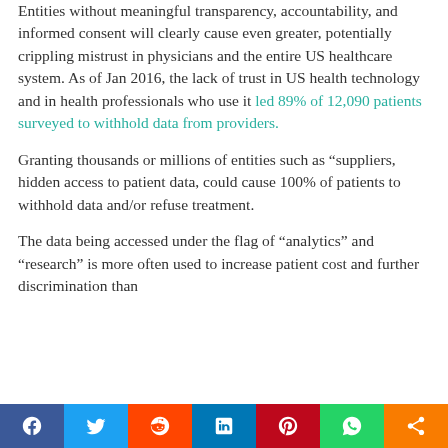Entities without meaningful transparency, accountability, and informed consent will clearly cause even greater, potentially crippling mistrust in physicians and the entire US healthcare system. As of Jan 2016, the lack of trust in US health technology and in health professionals who use it led 89% of 12,090 patients surveyed to withhold data from providers.
Granting thousands or millions of entities such as “suppliers, hidden access to patient data, could cause 100% of patients to withhold data and/or refuse treatment.
The data being accessed under the flag of “analytics” and “research” is more often used to increase patient cost and further discrimination than